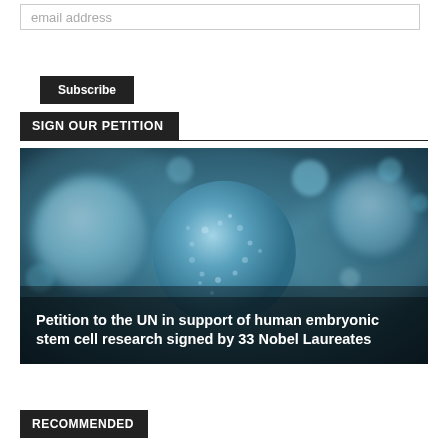email address
Subscribe
SIGN OUR PETITION
[Figure (photo): Microscopic image of blue spherical cells (stem cells) floating against a teal/dark background, with one large cell in the center foreground and several smaller cells around it.]
Petition to the UN in support of human embryonic stem cell research signed by 33 Nobel Laureates
RECOMMENDED